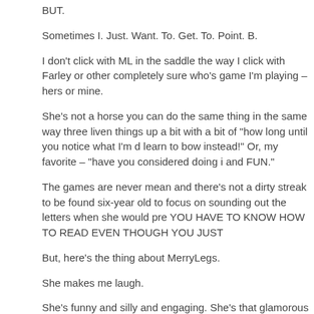BUT.
Sometimes I. Just. Want. To. Get. To. Point. B.
I don't click with ML in the saddle the way I click with Farley or other completely sure who's game I'm playing – hers or mine.
She's not a horse you can do the same thing in the same way three liven things up a bit with a bit of "how long until you notice what I'm d learn to bow instead!" Or, my favorite – "have you considered doing i and FUN."
The games are never mean and there's not a dirty streak to be found six-year old to focus on sounding out the letters when she would pre YOU HAVE TO KNOW HOW TO READ EVEN THOUGH YOU JUST
But, here's the thing about MerryLegs.
She makes me laugh.
She's funny and silly and engaging. She's that glamorous supermode to make small talk and make everyone feel special.
She's the first horse that I consistently anthropomorphize because I c this horse.
(continues below)